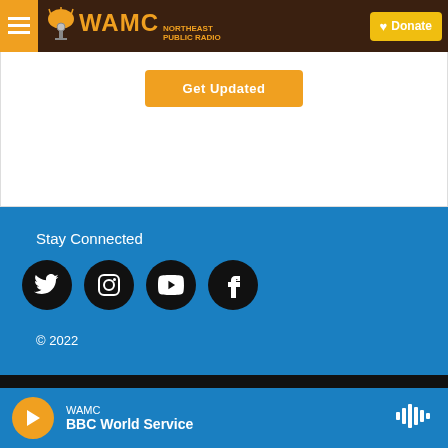[Figure (screenshot): WAMC Northeast Public Radio navigation bar with hamburger menu, logo, and Donate button]
[Figure (screenshot): Orange 'Get Updated' button on white background]
Stay Connected
[Figure (screenshot): Social media icons: Twitter, Instagram, YouTube, Facebook on black circles]
© 2022
[Figure (screenshot): Bottom bar with WAMC logo, BBC News World Service logo, NPR logo]
[Figure (screenshot): Audio player bar: WAMC / BBC World Service with play button and waveform icon]